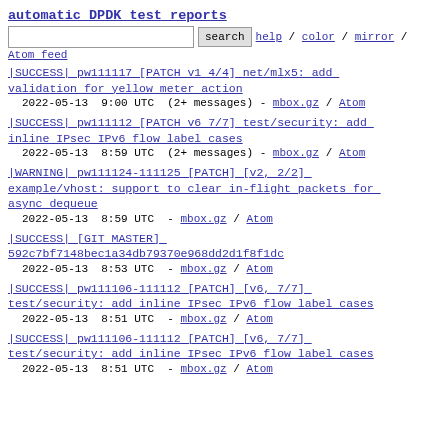automatic DPDK test reports
search  help / color / mirror / Atom feed
|SUCCESS| pw111117 [PATCH v1 4/4] net/mlx5: add validation for yellow meter action
2022-05-13  9:00 UTC  (2+ messages) - mbox.gz / Atom
|SUCCESS| pw111112 [PATCH v6 7/7] test/security: add inline IPsec IPv6 flow label cases
2022-05-13  8:59 UTC  (2+ messages) - mbox.gz / Atom
|WARNING| pw111124-111125 [PATCH] [v2, 2/2] example/vhost: support to clear in-flight packets for async dequeue
2022-05-13  8:59 UTC  - mbox.gz / Atom
|SUCCESS| [GIT MASTER] 592c7bf7148bec1a34db79370e968dd2d1f8f1dc
2022-05-13  8:53 UTC  - mbox.gz / Atom
|SUCCESS| pw111106-111112 [PATCH] [v6, 7/7] test/security: add inline IPsec IPv6 flow label cases
2022-05-13  8:51 UTC  - mbox.gz / Atom
|SUCCESS| pw111106-111112 [PATCH] [v6, 7/7] test/security: add inline IPsec IPv6 flow label cases
2022-05-13  8:51 UTC  - mbox.gz / Atom